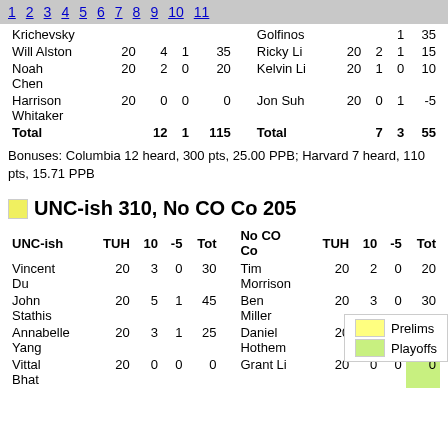1 2 3 4 5 6 7 8 9 10 11
|  | TUH | 10 | -5 | Tot |  | TUH | 10 | -5 | Tot |
| --- | --- | --- | --- | --- | --- | --- | --- | --- | --- |
| Krichevsky |  |  |  |  | Golfinos |  |  | 1 | 35 |
| Will Alston | 20 | 4 | 1 | 35 | Ricky Li | 20 | 2 | 1 | 15 |
| Noah Chen | 20 | 2 | 0 | 20 | Kelvin Li | 20 | 1 | 0 | 10 |
| Harrison Whitaker | 20 | 0 | 0 | 0 | Jon Suh | 20 | 0 | 1 | -5 |
| Total |  | 12 | 1 | 115 | Total |  | 7 | 3 | 55 |
Bonuses: Columbia 12 heard, 300 pts, 25.00 PPB; Harvard 7 heard, 110 pts, 15.71 PPB
UNC-ish 310, No CO Co 205
| UNC-ish | TUH | 10 | -5 | Tot | No CO Co | TUH | 10 | -5 | Tot |
| --- | --- | --- | --- | --- | --- | --- | --- | --- | --- |
| Vincent Du | 20 | 3 | 0 | 30 | Tim Morrison | 20 | 2 | 0 | 20 |
| John Stathis | 20 | 5 | 1 | 45 | Ben Miller | 20 | 3 | 0 | 30 |
| Annabelle Yang | 20 | 3 | 1 | 25 | Daniel Hothem | 20 | 3 | 1 | 25 |
| Vittal Bhat | 20 | 0 | 0 | 0 | Grant Li | 20 | 0 | 0 | 0 |